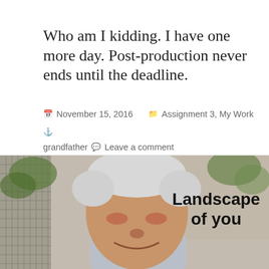Who am I kidding. I have one more day. Post-production never ends until the deadline.
November 15, 2016   Assignment 3, My Work   grandfather   Leave a comment
[Figure (photo): Portrait photo of an elderly Asian man smiling, with white/grey hair, wearing a light blue shirt. Background shows greenery and a building. Text overlay reads 'Landscape of you' in bold black.]